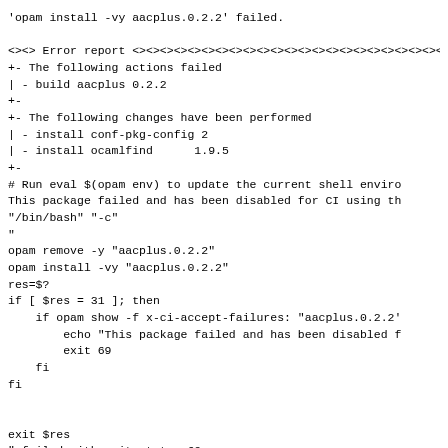'opam install -vy aacplus.0.2.2' failed.

<><> Error report <><><><><><><><><><><><><><><><><><><><><><>
+- The following actions failed
| - build aacplus 0.2.2
+-
+- The following changes have been performed
| - install conf-pkg-config 2
| - install ocamlfind      1.9.5
+-
# Run eval $(opam env) to update the current shell enviro
This package failed and has been disabled for CI using th
"/bin/bash" "-c"
"
opam remove -y "aacplus.0.2.2"
opam install -vy "aacplus.0.2.2"
res=$?
if [ $res = 31 ]; then
    if opam show -f x-ci-accept-failures: "aacplus.0.2.2"
        echo "This package failed and has been disabled f
        exit 69
    fi
fi


exit $res
" failed with exit status 69
Failed: Build failed